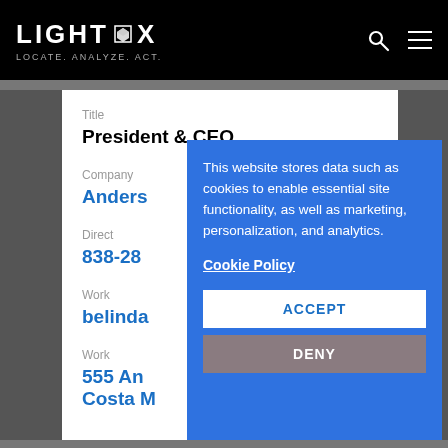LIGHTBOX — LOCATE. ANALYZE. ACT.
Title
President & CEO
Company
Anders
Direct
838-28
Work
belinda
Work
555 An
Costa M
This website stores data such as cookies to enable essential site functionality, as well as marketing, personalization, and analytics.

Cookie Policy
ACCEPT
DENY